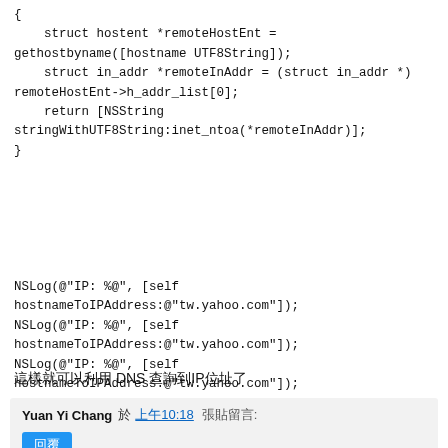{
    struct hostent *remoteHostEnt = gethostbyname([hostname UTF8String]);
    struct in_addr *remoteInAddr = (struct in_addr *) remoteHostEnt->h_addr_list[0];
    return [NSString stringWithUTF8String:inet_ntoa(*remoteInAddr)];
}
NSLog(@"IP: %@", [self hostnameToIPAddress:@"tw.yahoo.com"]);
NSLog(@"IP: %@", [self hostnameToIPAddress:@"tw.yahoo.com"]);
NSLog(@"IP: %@", [self hostnameToIPAddress:@"tw.yahoo.com"]);
這樣就可以利用 DNS 查詢到IP位址了
Yuan Yi Chang 於 上午10:18    張貼留言:
回覆